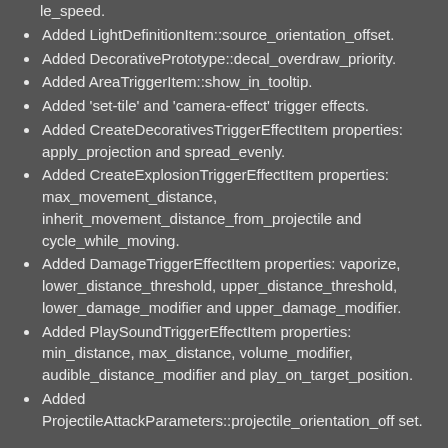le_speed.
Added LightDefinitionItem::source_orientation_offset.
Added DecorativePrototype::decal_overdraw_priority.
Added AreaTriggerItem::show_in_tooltip.
Added 'set-tile' and 'camera-effect' trigger effects.
Added CreateDecorativesTriggerEffectItem properties: apply_projection and spread_evenly.
Added CreateExplosionTriggerEffectItem properties: max_movement_distance, inherit_movement_distance_from_projectile and cycle_while_moving.
Added DamageTriggerEffectItem properties: vaporize, lower_distance_threshold, upper_distance_threshold, lower_damage_modifier and upper_damage_modifier.
Added PlaySoundTriggerEffectItem properties: min_distance, max_distance, volume_modifier, audible_distance_modifier and play_on_target_position.
Added ProjectileAttackParameters::projectile_orientation_offset.